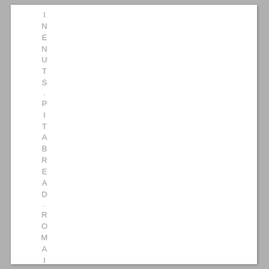INENUTS .PITABREAD .ROMAINE .SAL